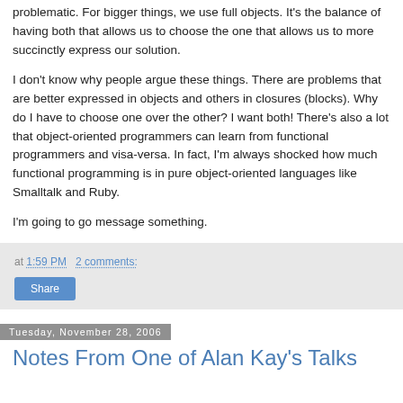problematic. For bigger things, we use full objects. It's the balance of having both that allows us to choose the one that allows us to more succinctly express our solution.
I don't know why people argue these things. There are problems that are better expressed in objects and others in closures (blocks). Why do I have to choose one over the other? I want both! There's also a lot that object-oriented programmers can learn from functional programmers and visa-versa. In fact, I'm always shocked how much functional programming is in pure object-oriented languages like Smalltalk and Ruby.
I'm going to go message something.
at 1:59 PM   2 comments:
Share
Tuesday, November 28, 2006
Notes From One of Alan Kay's Talks